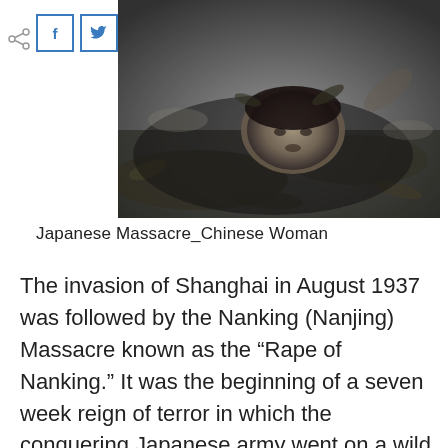[Figure (photo): Black and white historical photograph showing a victim of the Nanking Massacre]
Japanese Massacre_Chinese Woman
The invasion of Shanghai in August 1937 was followed by the Nanking (Nanjing) Massacre known as the “Rape of Nanking.” It was the beginning of a seven week reign of terror in which the conquering Japanese army went on a wild rampage; looting, torturing, beheading, burying alive, burning, and gang- raping at will.